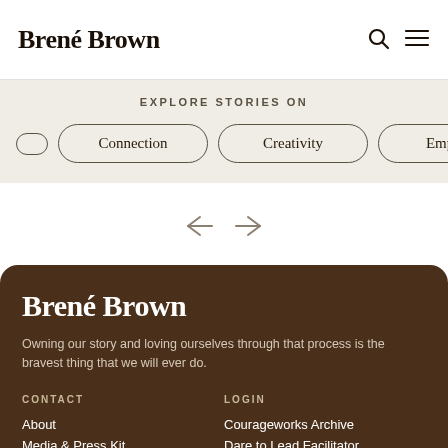Brené Brown
EXPLORE STORIES ON
Connection
Creativity
Empathy
Brené Brown
Owning our story and loving ourselves through that process is the bravest thing that we will ever do.
CONTACT
LOGIN
About
Courageworks Archive
Media & Press Kit
Dare to Lead Facilitator